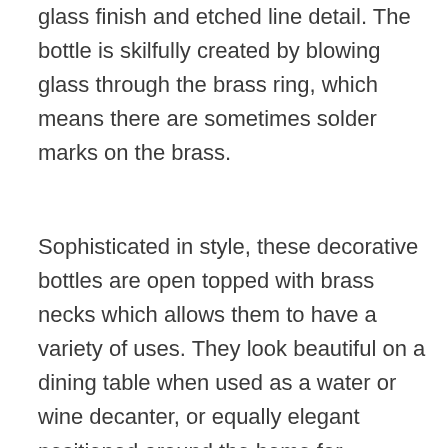glass finish and etched line detail. The bottle is skilfully created by blowing glass through the brass ring, which means there are sometimes solder marks on the brass.
Sophisticated in style, these decorative bottles are open topped with brass necks which allows them to have a variety of uses. They look beautiful on a dining table when used as a water or wine decanter, or equally elegant positioned around the home for displaying